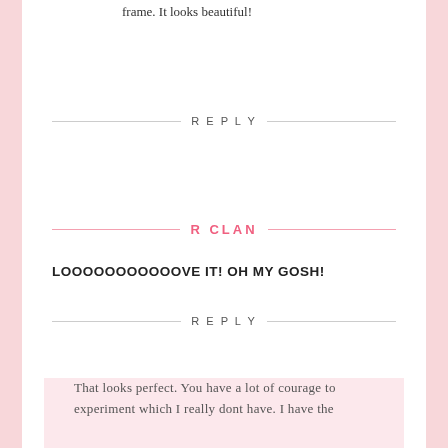frame. It looks beautiful!
REPLY
R CLAN
LOOOOOOOOOOOVE IT! OH MY GOSH!
REPLY
CHRISTINA
That looks perfect. You have a lot of courage to experiment which I really dont have. I have the